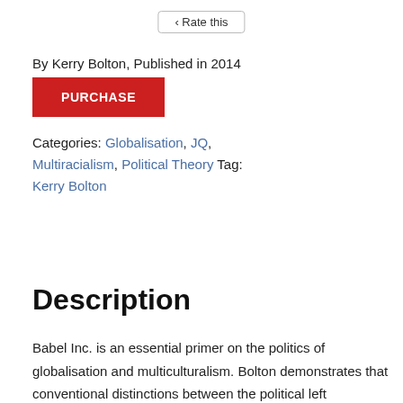Rate this
By Kerry Bolton, Published in 2014
PURCHASE
Categories: Globalisation, JQ, Multiracialism, Political Theory Tag: Kerry Bolton
Description
Reviews(0)
Description
Babel Inc. is an essential primer on the politics of globalisation and multiculturalism. Bolton demonstrates that conventional distinctions between the political left